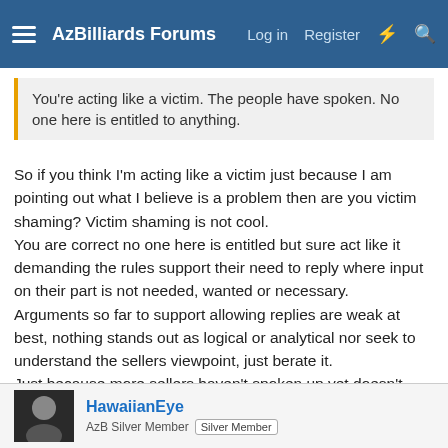AzBilliards Forums  Log in  Register
You're acting like a victim. The people have spoken. No one here is entitled to anything.
So if you think I'm acting like a victim just because I am pointing out what I believe is a problem then are you victim shaming? Victim shaming is not cool.
You are correct no one here is entitled but sure act like it demanding the rules support their need to reply where input on their part is not needed, wanted or necessary.
Arguments so far to support allowing replies are weak at best, nothing stands out as logical or analytical nor seek to understand the sellers viewpoint, just berate it.
Just because more sellers haven't spoken up yet doesn't mean there's a consensus.
Maybe this forum is just too small and can't grow to a professional level by taking one step to grow?
HawaiianEye
AzB Silver Member  Silver Member